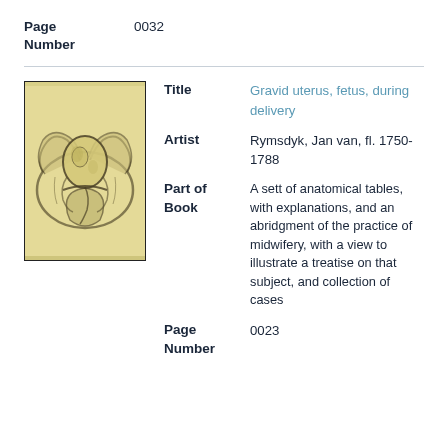| Field | Value |
| --- | --- |
| Page Number | 0032 |
[Figure (illustration): Anatomical illustration of gravid uterus and fetus during delivery, shown in cross-section view with pelvis structure, rendered in sepia/yellowish tones on aged paper]
| Field | Value |
| --- | --- |
| Title | Gravid uterus, fetus, during delivery |
| Artist | Rymsdyk, Jan van, fl. 1750-1788 |
| Part of Book | A sett of anatomical tables, with explanations, and an abridgment of the practice of midwifery, with a view to illustrate a treatise on that subject, and collection of cases |
| Page Number | 0023 |